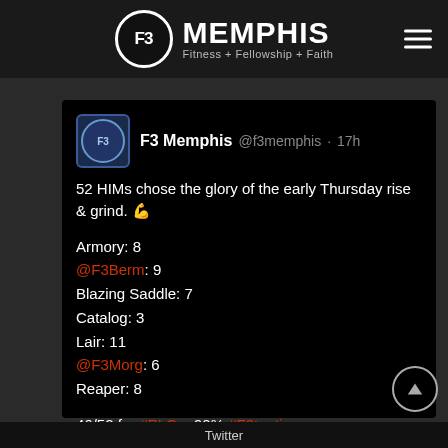F3 Memphis — Fitness + Fellowship + Faith
[Figure (screenshot): F3 Memphis Twitter/social media post screenshot showing workout attendance counts for Thursday morning workouts. Post by @f3memphis, 17h ago. Text: '52 HIMs chose the glory of the early Thursday rise & grind. 💪

Armory: 8
@F3Berm: 9
Blazing Saddle: 7
Catalog: 3
Lair: 11
@F3Morg: 6
Reaper: 8

46/52 for #PLC = 90% #F3tention

#F3counts #MemphisMojo #MemphisRules']
Twitter